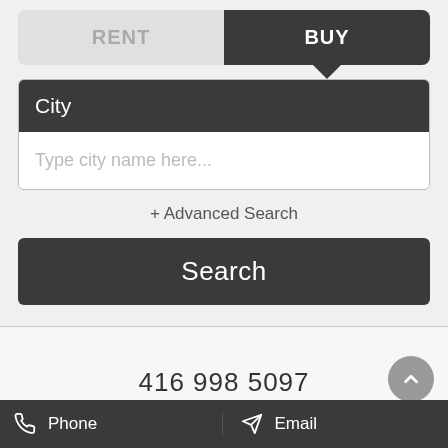[Figure (screenshot): Real estate search widget with RENT/BUY tab toggle. BUY tab is active (dark). Below is a City dropdown (dark header) with a text input field reading 'Type city name here...'. Below that is '+ Advanced Search' link and a dark Search button.]
416 998 5097
Brad@REMRE.ca
Phone    Email